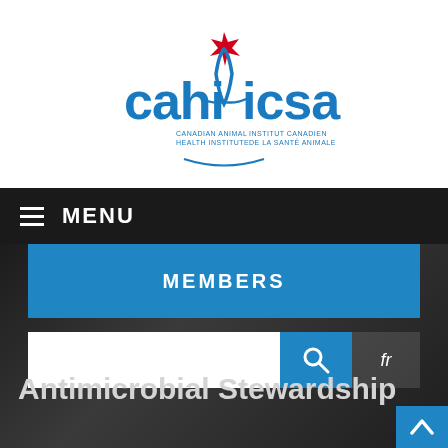[Figure (logo): CAHI/ICSA – Canadian Animal Health Institute / Institut Canadien de la Santé Animale logo with red maple leaf and stylized animal silhouette]
≡ MENU
MEMBERS
fr
Antimicrobial Stewardship